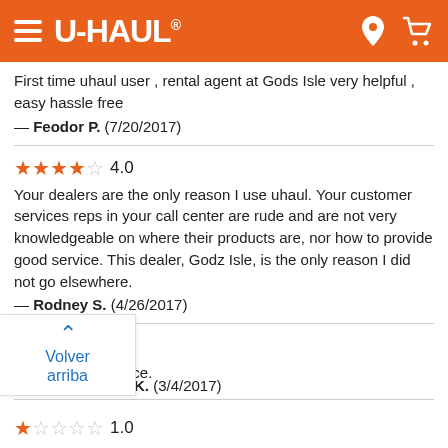U-HAUL (navigation header with menu, logo, location and cart icons)
First time uhaul user , rental agent at Gods Isle very helpful , easy hassle free
— Feodor P.  (7/20/2017)
★★★★☆ 4.0
Your dealers are the only reason I use uhaul. Your customer services reps in your call center are rude and are not very knowledgeable on where their products are, nor how to provide good service. This dealer, Godz Isle, is the only reason I did not go elsewhere.
— Rodney S.  (4/26/2017)
★★★☆☆ 3.0
Very friendly service.
— K.  (3/4/2017)
★☆☆☆☆ 1.0